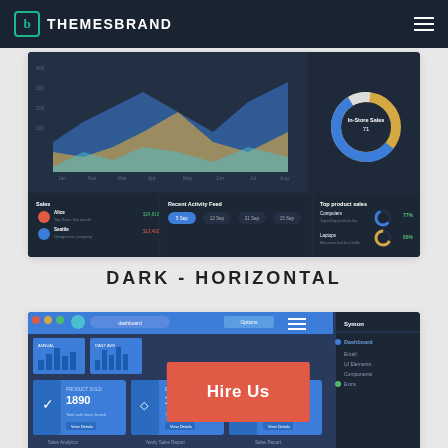THEMESBRAND
[Figure (screenshot): Dark analytics dashboard screenshot showing area chart, donut chart (In-Store Sales), sales table, Recent Activity Feed, and Top product sales with Computers 77% and Laptops 86% donut charts]
DARK - HORIZONTAL
[Figure (screenshot): Dark horizontal dashboard screenshot with blue header nav, sales stats panels showing PRODUCT SOLD 1890, ENROLLED PRICE 15.9, and other metrics, plus sidebar navigation with Dashboard, Email, etc. 'Hire Us' red button overlay visible.]